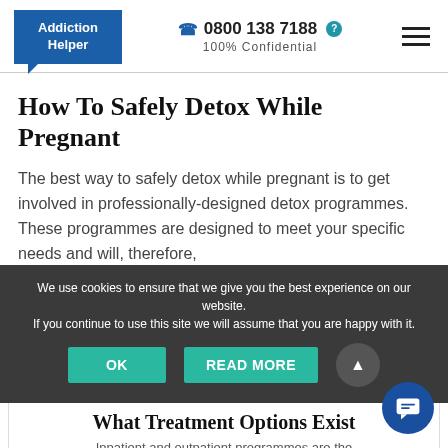Addiction Helper | 0800 138 7188 | 100% Confidential
How To Safely Detox While Pregnant
The best way to safely detox while pregnant is to get involved in professionally-designed detox programmes. These programmes are designed to meet your specific needs and will, therefore,
We use cookies to ensure that we give you the best experience on our website. If you continue to use this site we will assume that you are happy with it.
Such programmes also offer round-the-clock assistance, providing the level of care you need at every turn.
What Treatment Options Exist
Inpatient and outpatient programmes are the